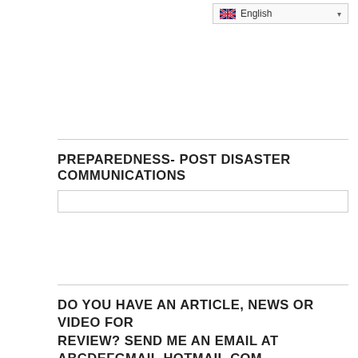[Figure (screenshot): Language selector dropdown showing UK flag and 'English' with dropdown arrow]
PREPAREDNESS- POST DISASTER COMMUNICATIONS
[Figure (photo): Broken image placeholder with small green/colored icon in top-left corner]
DO YOU HAVE AN ARTICLE, NEWS OR VIDEO FOR REVIEW? SEND ME AN EMAIL AT ABCDEFGMAIL.HOTMAIL.COM